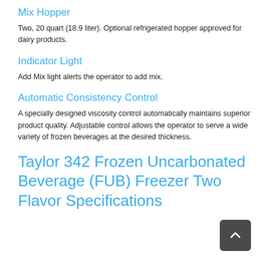Mix Hopper
Two, 20 quart (18.9 liter). Optional refrigerated hopper approved for dairy products.
Indicator Light
Add Mix light alerts the operator to add mix.
Automatic Consistency Control
A specially designed viscosity control automatically maintains superior product quality. Adjustable control allows the operator to serve a wide variety of frozen beverages at the desired thickness.
Taylor 342 Frozen Uncarbonated Beverage (FUB) Freezer Two Flavor Specifications